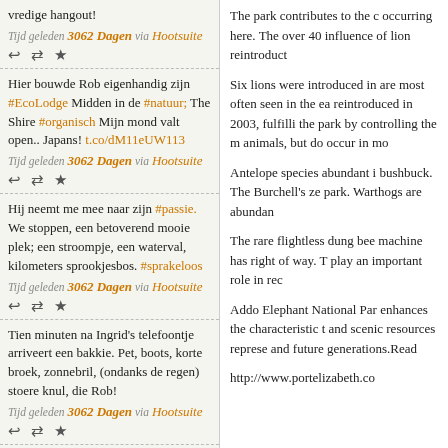vredige hangout!
Tijd geleden 3062 Dagen via Hootsuite
Hier bouwde Rob eigenhandig zijn #EcoLodge Midden in de #natuur; The Shire #organisch Mijn mond valt open.. Japans! t.co/dM11eUW113
Tijd geleden 3062 Dagen via Hootsuite
Hij neemt me mee naar zijn #passie. We stoppen, een betoverend mooie plek; een stroompje, een waterval, kilometers sprookjesbos. #sprakeloos
Tijd geleden 3062 Dagen via Hootsuite
Tien minuten na Ingrid's telefoontje arriveert een bakkie. Pet, boots, korte broek, zonnebril, (ondanks de regen) stoere knul, die Rob!
Tijd geleden 3062 Dagen via Hootsuite
De mysterieuze Rob bezoeken zie ik niet
The park contributes to the c occurring here. The over 40 influence of lion reintroduct
Six lions were introduced in are most often seen in the ea reintroduced in 2003, fulfilli the park by controlling the m animals, but do occur in mo
Antelope species abundant i bushbuck. The Burchell's ze park. Warthogs are abundan
The rare flightless dung bee machine has right of way. T play an important role in rec
Addo Elephant National Par enhances the characteristic t and scenic resources represe and future generations.Read
http://www.portelizabeth.co